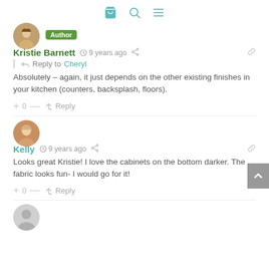Navigation icons: cart, search, menu
Kristie Barnett  9 years ago  |  Reply to Cheryl
Absolutely – again, it just depends on the other existing finishes in your kitchen (counters, backsplash, floors).
+ 0 –  Reply
Kelly  9 years ago
Looks great Kristie! I love the cabinets on the bottom darker. The fabric looks fun- I would go for it!
+ 0 –  Reply
[Figure (illustration): Default user avatar (grey circle with person silhouette)]